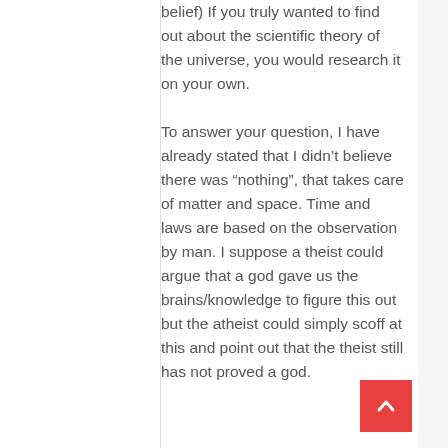belief) If you truly wanted to find out about the scientific theory of the universe, you would research it on your own.
To answer your question, I have already stated that I didn't believe there was “nothing”, that takes care of matter and space. Time and laws are based on the observation by man. I suppose a theist could argue that a god gave us the brains/knowledge to figure this out but the atheist could simply scoff at this and point out that the theist still has not proved a god.